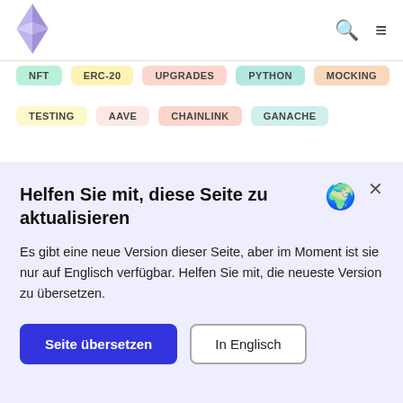Ethereum logo, search icon, menu icon
NFT | ERC-20 | UPGRADES | PYTHON | MOCKING
TESTING | AAVE | CHAINLINK | GANACHE
Helfen Sie mit, diese Seite zu aktualisieren
Es gibt eine neue Version dieser Seite, aber im Moment ist sie nur auf Englisch verfügbar. Helfen Sie mit, die neueste Version zu übersetzen.
Seite übersetzen | In Englisch